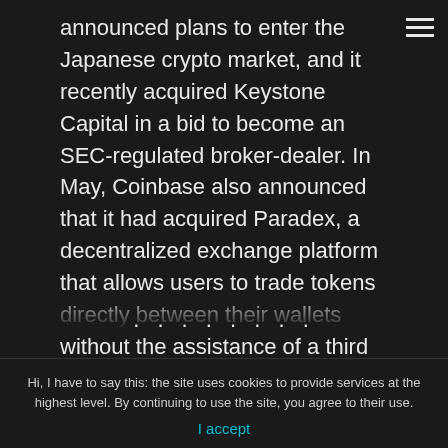announced plans to enter the Japanese crypto market, and it recently acquired Keystone Capital in a bid to become an SEC-regulated broker-dealer. In May, Coinbase also announced that it had acquired Paradex, a decentralized exchange platform that allows users to trade tokens directly between their wallets without the assistance of a third party. The company plans to offer this service to international users before making it available to US customers. These exchanges allow
Hi, I have to say this: the site uses cookies to provide services at the highest level. By continuing to use the site, you agree to their use.
I accept